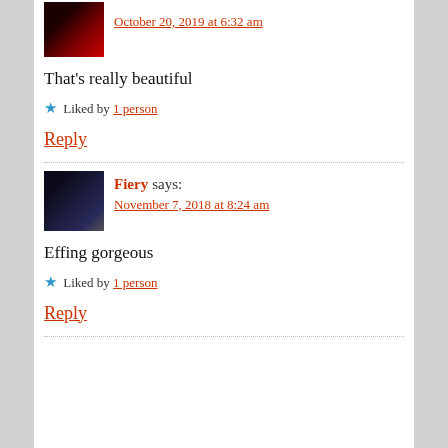[Figure (photo): Small avatar thumbnail showing dark red/maroon tones, partially cropped at top of page]
October 20, 2019 at 6:32 am
That's really beautiful
Liked by 1 person
Reply
[Figure (photo): Square avatar showing a dark fantasy/gothic style figure against a moonlit sky]
Fiery says:
November 7, 2018 at 8:24 am
Effing gorgeous
Liked by 1 person
Reply